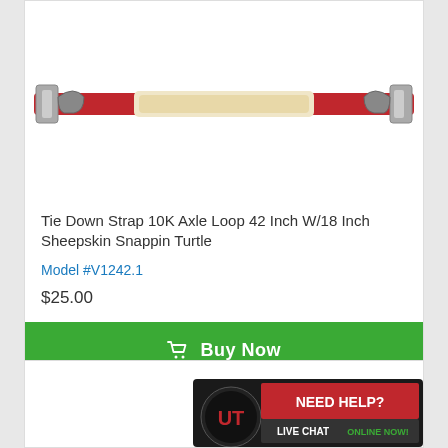[Figure (photo): Red tie down strap with sheepskin padding, shown horizontally against white background]
Tie Down Strap 10K Axle Loop 42 Inch W/18 Inch Sheepskin Snappin Turtle
Model #V1242.1
$25.00
[Figure (other): Green Buy Now button with shopping cart icon]
[Figure (other): Need Help? Live Chat Online Now! banner with UT logo]